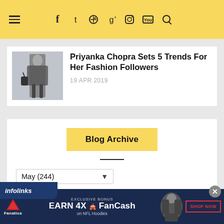≡ f t ℗ g⁺ 📷 ▶ 🔍
Priyanka Chopra Sets 5 Trends For Her Fashion Followers
19 APR 2019
Blog Archive
May (244)
[Figure (screenshot): Infolinks branding bar and Fanatics ad banner: EXCLUSIVE BONUS EARN 4X FanCash on NFL Hoodies SHOP NOW]